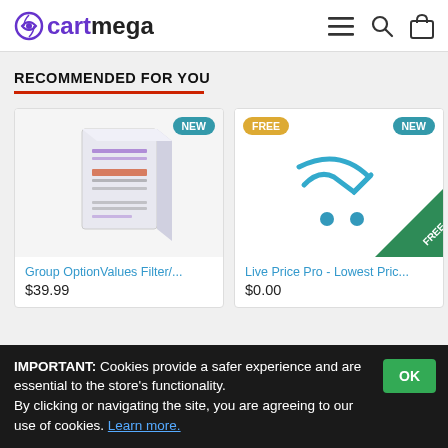cartmega
RECOMMENDED FOR YOU
[Figure (photo): Product card: Group OptionValues Filter box image with NEW badge, price $39.99]
[Figure (photo): Product card: Live Price Pro - Lowest Price cart icon with FREE and NEW badges, price $0.00]
IMPORTANT: Cookies provide a safer experience and are essential to the store's functionality. By clicking or navigating the site, you are agreeing to our use of cookies. Learn more.